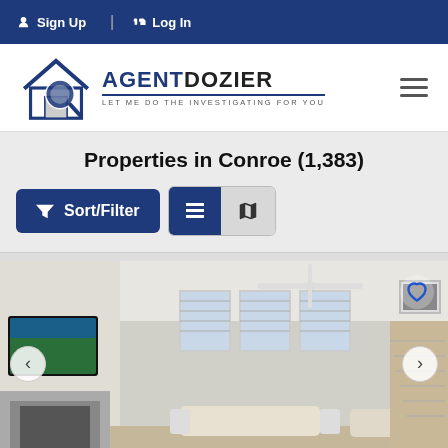Sign Up  Log In
[Figure (logo): AgentDozier logo - house with magnifying glass icon and text AGENTDOZIER - LET ME DO THE INVESTIGATING FOR YOU]
Properties in Conroe (1,383)
[Figure (screenshot): Sort/Filter button and list/map view toggle buttons]
[Figure (photo): Interior photo of a living room with high ceilings, ceiling fan, large TV on wall, fireplace, windows with blinds, and comfortable seating. Navigation arrows on left and right, heart/favorite icon top right.]